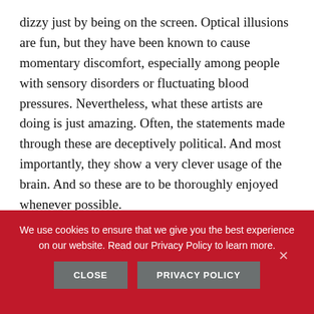dizzy just by being on the screen. Optical illusions are fun, but they have been known to cause momentary discomfort, especially among people with sensory disorders or fluctuating blood pressures. Nevertheless, what these artists are doing is just amazing. Often, the statements made through these are deceptively political. And most importantly, they show a very clever usage of the brain. And so these are to be thoroughly enjoyed whenever possible.
[Figure (other): Social share buttons bar with Facebook Share (17), Twitter Tweet, and Pinterest (25) buttons]
We use cookies to ensure that we give you the best experience on our website. Read our Privacy Policy to learn more.
CLOSE  PRIVACY POLICY